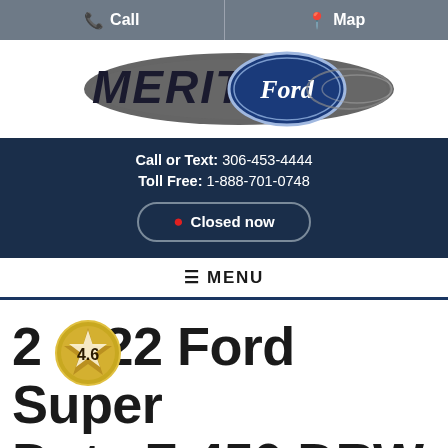Call | Map
[Figure (logo): Merit Ford dealership logo with Ford oval emblem and stylized speed lines]
Call or Text: 306-453-4444
Toll Free: 1-888-701-0748
● Closed now
☰ MENU
2022 Ford Super Duty F-450 DRW